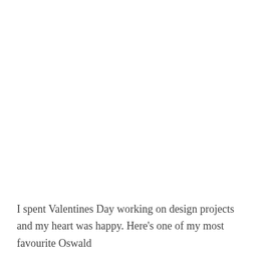I spent Valentines Day working on design projects and my heart was happy. Here's one of my most favourite Oswald